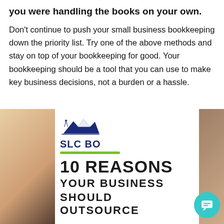you were handling the books on your own.
Don't continue to push your small business bookkeeping down the priority list. Try one of the above methods and stay on top of your bookkeeping for good. Your bookkeeping should be a tool that you can use to make key business decisions, not a burden or a hassle.
[Figure (screenshot): Screenshot of SLC Bookkeeping website showing '10 REASONS YOUR BUSINESS SHOULD OUTSOURCE' with mountain logo, green underline, overlaid chat popup saying 'What can I help you with?' with avatar photos and a teal chat button]